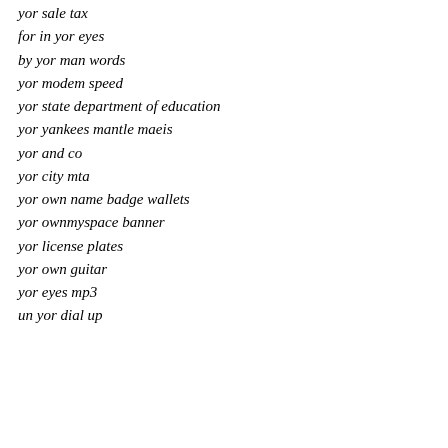yor sale tax
for in yor eyes
by yor man words
yor modem speed
yor state department of education
yor yankees mantle maeis
yor and co
yor city mta
yor own name badge wallets
yor ownmyspace banner
yor license plates
yor own guitar
yor eyes mp3
un yor dial up